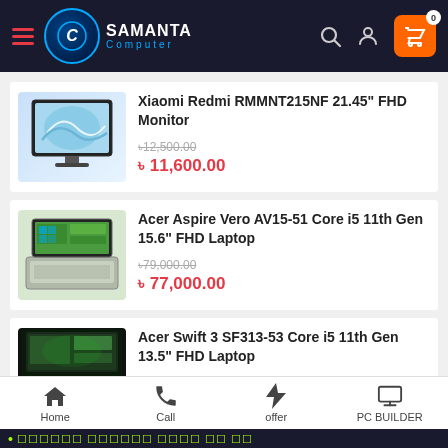[Figure (screenshot): Samanta Computer e-commerce website header with hamburger menu, logo, search icon, user icon, and shopping cart with badge showing 0]
[Figure (photo): Xiaomi Redmi RMMNT215NF 21.45 inch FHD Monitor product image]
Xiaomi Redmi RMMNT215NF 21.45" FHD Monitor
৳12,500.00 (strikethrough) ৳11,600.00
[Figure (photo): Acer Aspire Vero AV15-51 laptop product image]
Acer Aspire Vero AV15-51 Core i5 11th Gen 15.6" FHD Laptop
৳79,000.00 (strikethrough) ৳77,000.00
[Figure (photo): Acer Swift 3 SF313-53 laptop product image (partial)]
Acer Swift 3 SF313-53 Core i5 11th Gen 13.5" FHD Laptop
Home | Call | offer | PC BUILDER